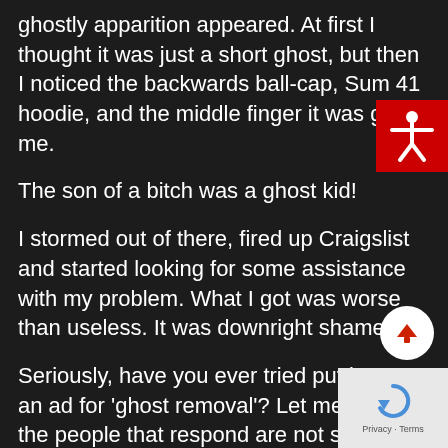ghostly apparition appeared. At first I thought it was just a short ghost, but then I noticed the backwards ball-cap, Sum 41 hoodie, and the middle finger it was giving me.
The son of a bitch was a ghost kid!
I stormed out of there, fired up Craigslist and started looking for some assistance with my problem. What I got was worse than useless. It was downright shameful.
Seriously, have you ever tried putting out an ad for 'ghost removal'? Let me tell you, the people that respond are not society's shining stars. Hell, I'm
[Figure (other): Red accessibility icon (white human figure with arms outstretched) on red background in top-right corner]
[Figure (other): White circular scroll-up button with red upward arrow in bottom-right area]
[Figure (other): reCAPTCHA logo area with Privacy - Terms text at bottom right]